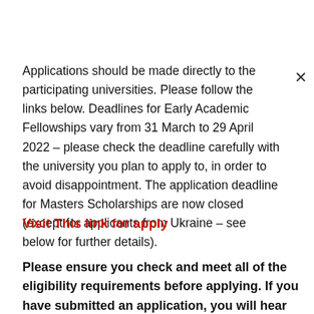Applications should be made directly to the participating universities. Please follow the links below. Deadlines for Early Academic Fellowships vary from 31 March to 29 April 2022 – please check the deadline carefully with the university you plan to apply to, in order to avoid disappointment. The application deadline for Masters Scholarships are now closed (except for applicants from Ukraine – see below for further details).
Visit This link for apply
Please ensure you check and meet all of the eligibility requirements before applying. If you have submitted an application, you will hear directly from the